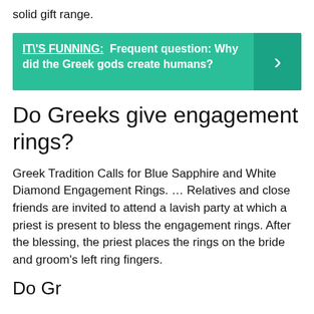solid gift range.
[Figure (infographic): Teal banner with bold text: IT\'S FUNNING: Frequent question: Why did the Greek gods create humans? with a right-arrow chevron on the darker teal right panel.]
Do Greeks give engagement rings?
Greek Tradition Calls for Blue Sapphire and White Diamond Engagement Rings. ... Relatives and close friends are invited to attend a lavish party at which a priest is present to bless the engagement rings. After the blessing, the priest places the rings on the bride and groom’s left ring fingers.
Do Gr